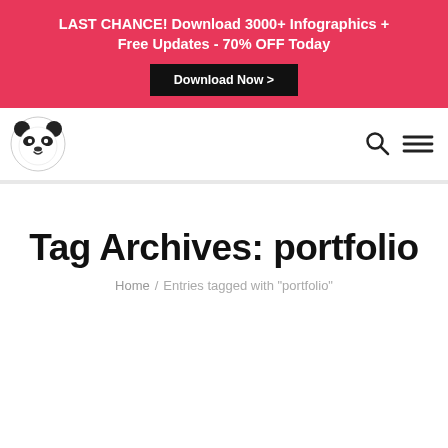LAST CHANCE! Download 3000+ Infographics + Free Updates - 70% OFF Today
Download Now >
[Figure (logo): Panda mascot logo icon in black and white]
Tag Archives: portfolio
Home / Entries tagged with "portfolio"